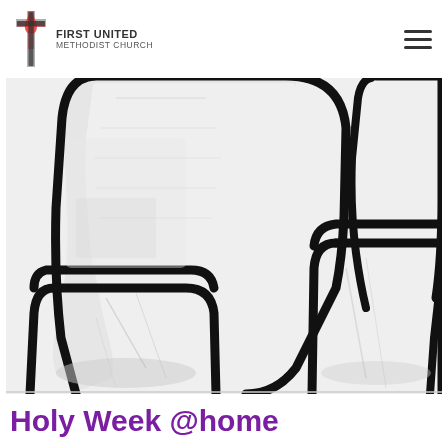First United Methodist Church
[Figure (illustration): Close-up black and white artistic illustration of hands with thick black outlines on white background, showing rounded rectangular shapes resembling stylized fingers or hands from above.]
Holy Week @home